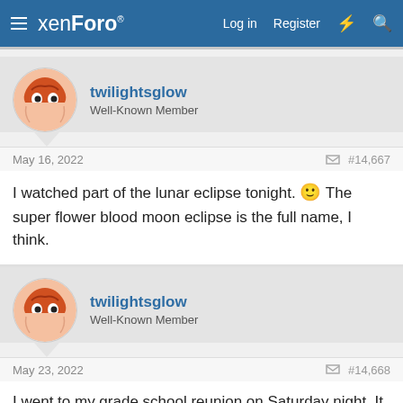xenForo — Log in  Register
twilightsglow
Well-Known Member
May 16, 2022   #14,667
I watched part of the lunar eclipse tonight. 🙂 The super flower blood moon eclipse is the full name, I think.
twilightsglow
Well-Known Member
May 23, 2022   #14,668
I went to my grade school reunion on Saturday night. It was nice 🙂 However I didn't get much sleep all weekend and I'm really tired.